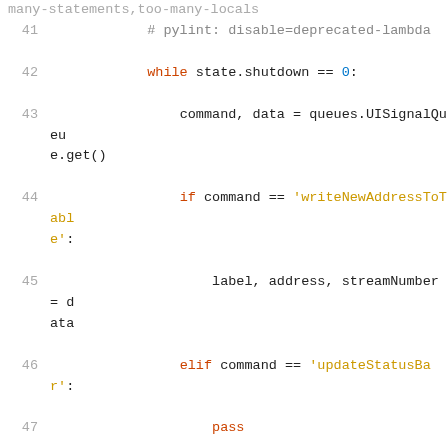[Figure (screenshot): Python source code listing, lines 41-54, showing a while loop with UI signal queue processing, handling commands writeNewAddressToTable, updateStatusBar, updateSentItemStatusByToAddress, updateSentItemStatusByAckdata, and displayNewInboxMessage.]